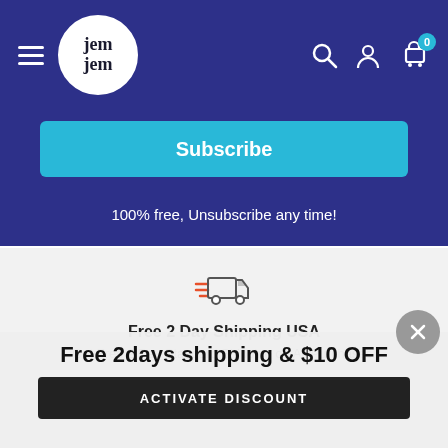[Figure (screenshot): Navigation bar with hamburger menu, jemjem logo circle, and icons for search, account, and cart with badge showing 0]
[Figure (screenshot): Cyan Subscribe button on dark blue background]
100% free, Unsubscribe any time!
[Figure (illustration): Fast delivery truck icon in orange and gray]
Free 2 Day Shipping USA
Get Free 2 Day Standard Shipping on All Purchases!
[Figure (screenshot): Popup overlay with close X button, promotional title and activate discount button]
Free 2days shipping & $10 OFF
ACTIVATE DISCOUNT